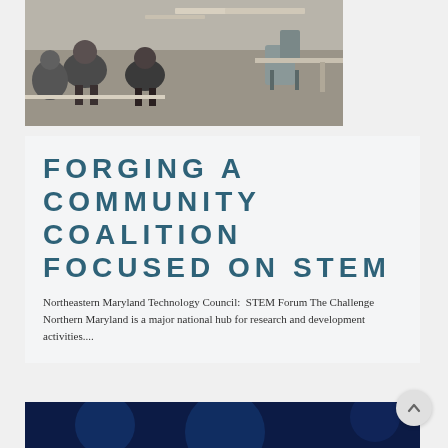[Figure (photo): Meeting room photo showing people seated around tables in a conference or forum setting]
FORGING A COMMUNITY COALITION FOCUSED ON STEM
Northeastern Maryland Technology Council:  STEM Forum The Challenge Northern Maryland is a major national hub for research and development activities....
[Figure (photo): Blurred blue-toned photo, partially visible at the bottom of the page]